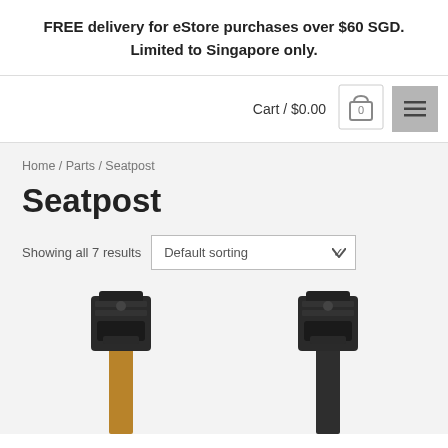FREE delivery for eStore purchases over $60 SGD. Limited to Singapore only.
Cart / $0.00
Home / Parts / Seatpost
Seatpost
Showing all 7 results
[Figure (screenshot): Default sorting dropdown selector]
[Figure (photo): Two bicycle seatposts shown side by side — left one is bronze/copper colored, right one is black/dark colored. Both have black clamp mechanisms at the top.]